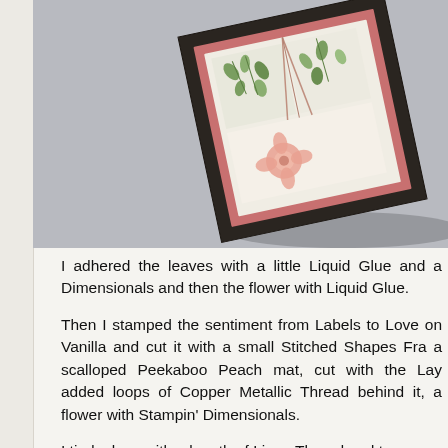[Figure (photo): A decorative handmade card or picture frame propped at an angle on a gray surface. The card features a dark zigzag/chevron patterned border, a pink/salmon inner mat, and botanical leaf and flower stamped images in the center. A ribbon bow is visible at the top.]
I adhered the leaves with a little Liquid Glue and a Dimensionals and then the flower with Liquid Glue.
Then I stamped the sentiment from Labels to Love on Vanilla and cut it with a small Stitched Shapes Fra a scalloped Peekaboo Peach mat, cut with the Lay added loops of Copper Metallic Thread behind it, a flower with Stampin' Dimensionals.
I tied a bow with a length of Linen Thread and two